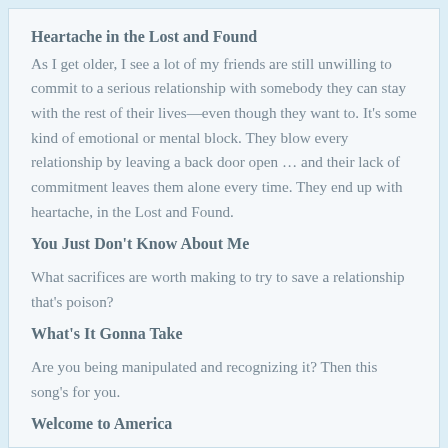Heartache in the Lost and Found
As I get older, I see a lot of my friends are still unwilling to commit to a serious relationship with somebody they can stay with the rest of their lives—even though they want to. It's some kind of emotional or mental block. They blow every relationship by leaving a back door open … and their lack of commitment leaves them alone every time. They end up with heartache, in the Lost and Found.
You Just Don't Know About Me
What sacrifices are worth making to try to save a relationship that's poison?
What's It Gonna Take
Are you being manipulated and recognizing it? Then this song's for you.
Welcome to America